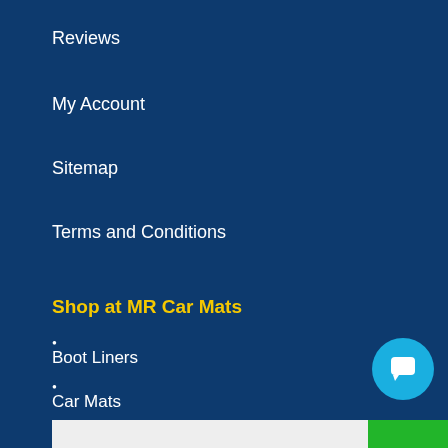Reviews
My Account
Sitemap
Terms and Conditions
Shop at MR Car Mats
Boot Liners
Car Mats
Sign Up To Our Newsletter